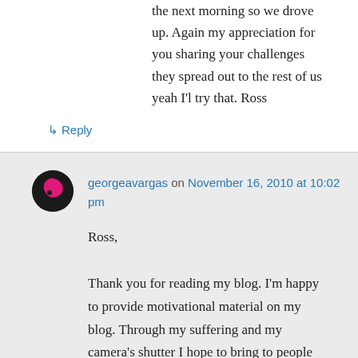the next morning so we drove up. Again my appreciation for you sharing your challenges they spread out to the rest of us yeah I'l try that. Ross
↳ Reply
georgeavargas on November 16, 2010 at 10:02 pm
Ross,
Thank you for reading my blog. I'm happy to provide motivational material on my blog. Through my suffering and my camera's shutter I hope to bring to people the natural beauty and majesty that is the mountains. I